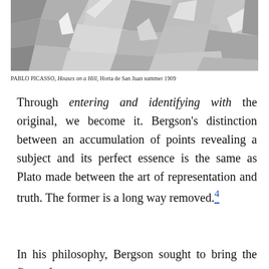[Figure (photo): Black and white photograph of Pablo Picasso's cubist painting 'Houses on a Hill', showing geometric angular shapes representing buildings in a fragmented cubist style.]
PABLO PICASSO, Houses on a Hill, Horta de San Juan summer 1909
Through entering and identifying with the original, we become it. Bergson's distinction between an accumulation of points revealing a subject and its perfect essence is the same as Plato made between the art of representation and truth. The former is a long way removed.4
In his philosophy, Bergson sought to bring the flow of